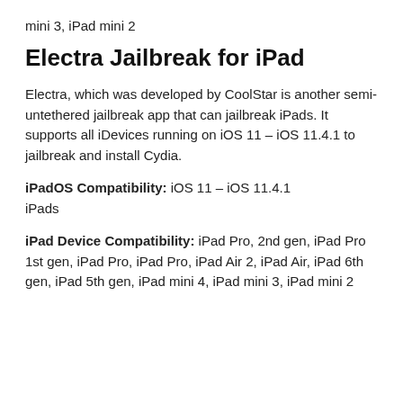mini 3, iPad mini 2
Electra Jailbreak for iPad
Electra, which was developed by CoolStar is another semi-untethered jailbreak app that can jailbreak iPads. It supports all iDevices running on iOS 11 – iOS 11.4.1 to jailbreak and install Cydia.
iPadOS Compatibility: iOS 11 – iOS 11.4.1
iPads
iPad Device Compatibility: iPad Pro, 2nd gen, iPad Pro 1st gen, iPad Pro, iPad Pro, iPad Air 2, iPad Air, iPad 6th gen, iPad 5th gen, iPad mini 4, iPad mini 3, iPad mini 2